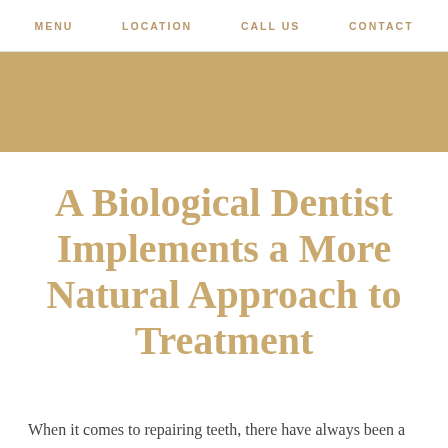MENU   LOCATION   CALL US   CONTACT
[Figure (other): Gold/tan decorative banner strip]
A Biological Dentist Implements a More Natural Approach to Treatment
When it comes to repairing teeth, there have always been a